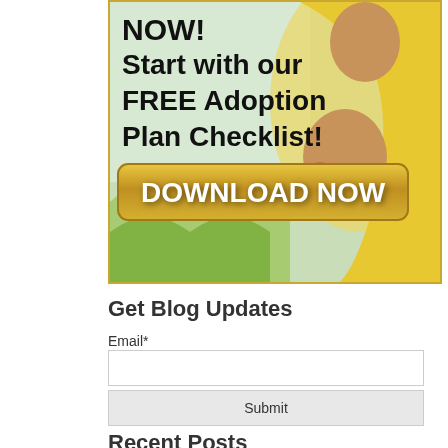[Figure (illustration): Advertisement banner showing a pregnant woman in a yellow dress with text 'NOW! Start with our FREE Adoption Plan Checklist!' and a golden 'DOWNLOAD NOW' button]
Get Blog Updates
Email*
Submit
Recent Posts